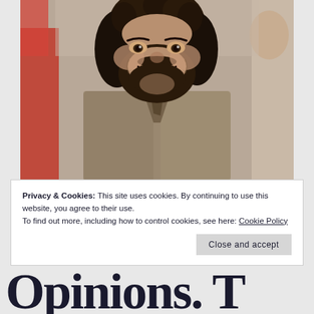[Figure (photo): A man with dark curly hair and a beard, smiling broadly, wearing a rough linen tunic with a V-neckline, appearing to be in a historical/biblical costume. Another person in a red garment is partially visible to the left.]
Privacy & Cookies: This site uses cookies. By continuing to use this website, you agree to their use.
To find out more, including how to control cookies, see here: Cookie Policy
Close and accept
Opinions. T